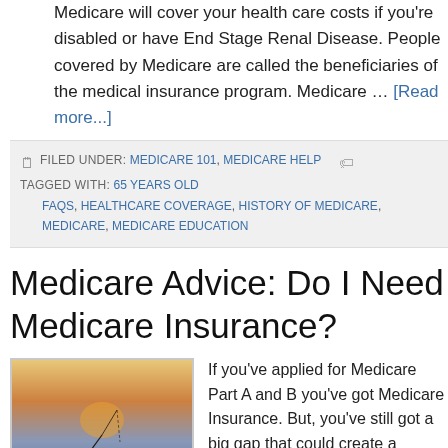Medicare will cover your health care costs if you're disabled or have End Stage Renal Disease. People covered by Medicare are called the beneficiaries of the medical insurance program. Medicare … [Read more...]
FILED UNDER: MEDICARE 101, MEDICARE HELP  TAGGED WITH: 65 YEARS OLD, FAQS, HEALTHCARE COVERAGE, HISTORY OF MEDICARE, MEDICARE, MEDICARE EDUCATION
Medicare Advice: Do I Need Medicare Insurance?
[Figure (photo): A silhouette of a person fishing at the beach during sunset/sunrise, with warm orange and purple sky tones and ocean waves visible.]
If you've applied for Medicare Part A and B you've got Medicare Insurance. But, you've still got a big gap that could create a financial hardship for you if you don't cover that gap with additional insurance. Medic...